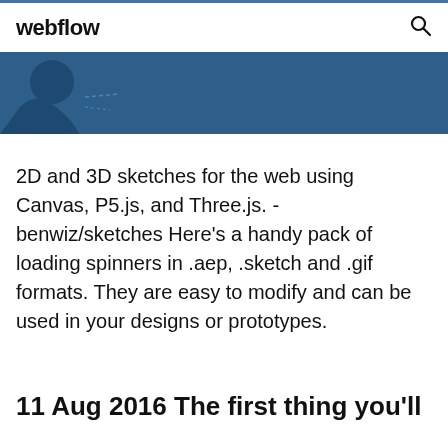webflow
[Figure (illustration): Dark blue banner image with a partial illustration of a figure or character on the left side]
2D and 3D sketches for the web using Canvas, P5.js, and Three.js. - benwiz/sketches Here's a handy pack of loading spinners in .aep, .sketch and .gif formats. They are easy to modify and can be used in your designs or prototypes.
11 Aug 2016 The first thing you'll